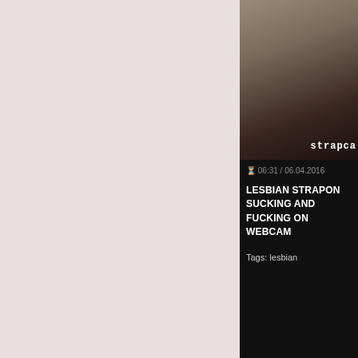[Figure (screenshot): Partial view of a video thumbnail showing dark background with partial watermark text 'strapca']
⏱ 06:31 / 06.04.2016
LESBIAN STRAPON SUCKING AND FUCKING ON WEBCAM
Tags: lesbian
1  2  3  Next →